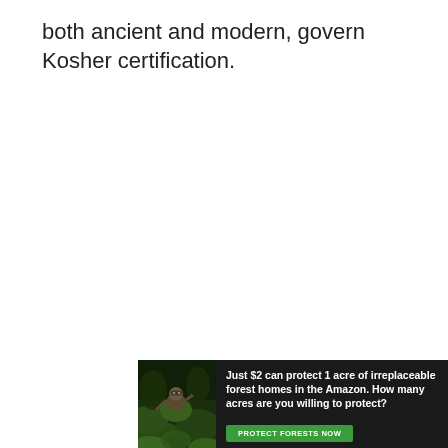both ancient and modern, govern Kosher certification.
[Figure (infographic): Advertisement banner with forest/Amazon background image on left side showing an animal (sloth) in green foliage, and text on dark background reading: 'Just $2 can protect 1 acre of irreplaceable forest homes in the Amazon. How many acres are you willing to protect?' with a green button labeled 'PROTECT FORESTS NOW']